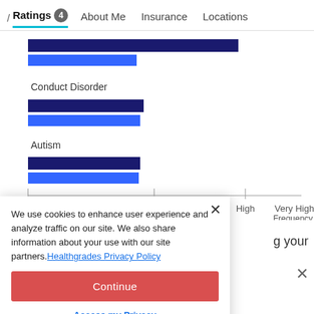/ Ratings 4   About Me   Insurance   Locations
[Figure (bar-chart): Condition Frequency Chart]
We use cookies to enhance user experience and analyze traffic on our site. We also share information about your use with our site partners. Healthgrades Privacy Policy
Continue
Access my Privacy Preferences